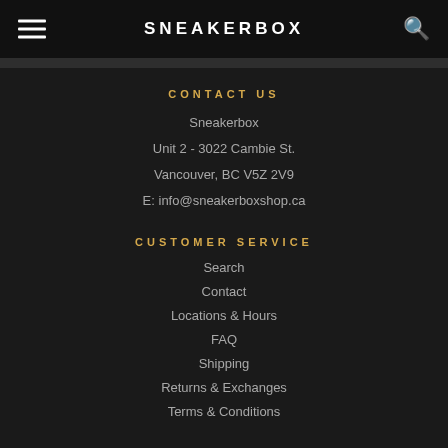SNEAKERBOX
CONTACT US
Sneakerbox
Unit 2 - 3022 Cambie St.
Vancouver, BC V5Z 2V9
E: info@sneakerboxshop.ca
CUSTOMER SERVICE
Search
Contact
Locations & Hours
FAQ
Shipping
Returns & Exchanges
Terms & Conditions
NEWSLETTER